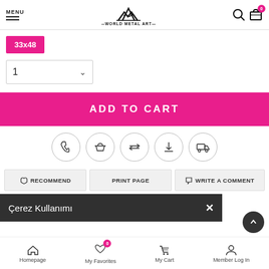MENU | World Metal Art logo | Search | Cart (0)
33x48
1 (quantity dropdown)
ADD TO CART
[Figure (illustration): Five circular icon buttons: phone, shopping basket, arrows (exchange), download arrow, delivery truck]
RECOMMEND | PRINT PAGE | WRITE A COMMENT
Çerez Kullanımı
Homepage | My Favorites (0) | My Cart | Member Log In